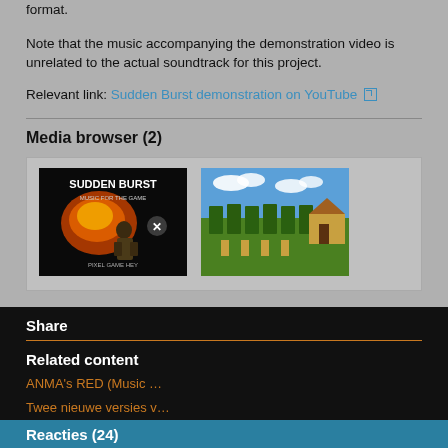format.
Note that the music accompanying the demonstration video is unrelated to the actual soundtrack for this project.
Relevant link: Sudden Burst demonstration on YouTube
Media browser (2)
[Figure (photo): Thumbnail image: Sudden Burst game cover art with soldier and explosion]
[Figure (screenshot): Thumbnail image: game screenshot showing trees and hut in pixel art style]
Share
Related content
ANMA's RED (Music …
Twee nieuwe versies v…
Girls Garden - laatste …
Girls Garden voor MS…
This block has no data
Reacties (24)